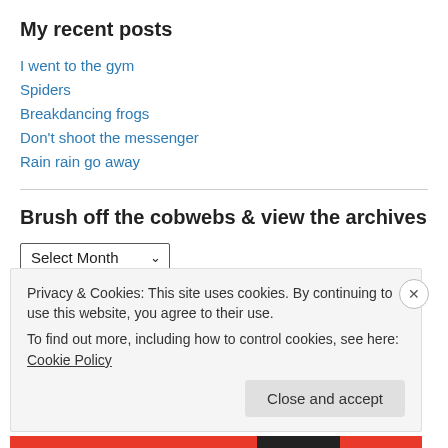My recent posts
I went to the gym
Spiders
Breakdancing frogs
Don't shoot the messenger
Rain rain go away
Brush off the cobwebs & view the archives
Select Month
Privacy & Cookies: This site uses cookies. By continuing to use this website, you agree to their use.
To find out more, including how to control cookies, see here: Cookie Policy
Close and accept